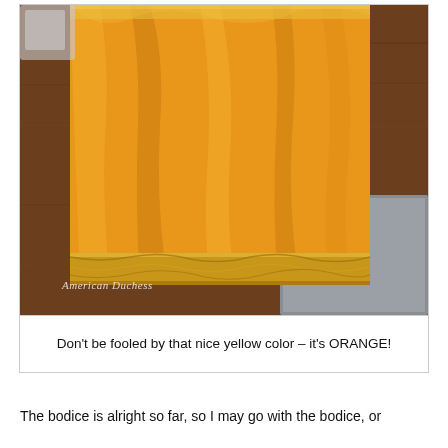[Figure (photo): Close-up photo of orange/golden-yellow silk fabric with a gold woven border, draped on a wooden surface. A gray object (possibly a box or tool) is visible at the bottom right. A watermark reads 'American Duchess' in italic script at the bottom left of the image.]
Don't be fooled by that nice yellow color – it's ORANGE!
The bodice is alright so far, so I may go with the bodice, or